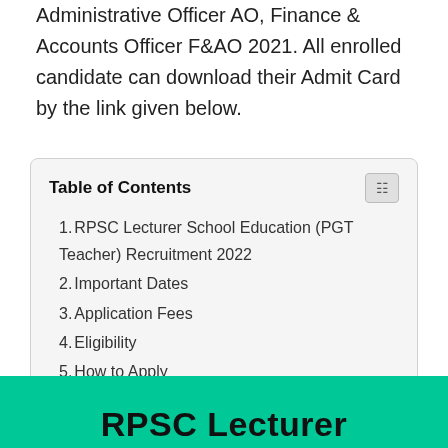Administrative Officer AO, Finance & Accounts Officer F&AO 2021. All enrolled candidate can download their Admit Card by the link given below.
Table of Contents
1. RPSC Lecturer School Education (PGT Teacher) Recruitment 2022
2. Important Dates
3. Application Fees
4. Eligibility
5. How to Apply
6. Important Links
RPSC Lecturer